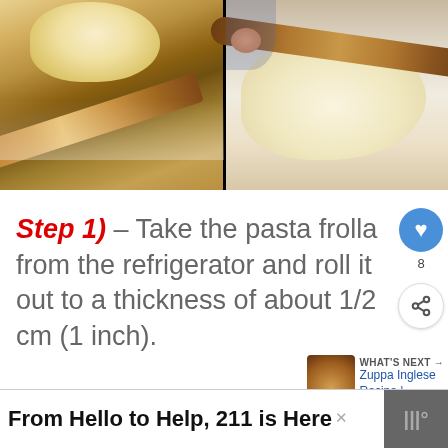[Figure (photo): Two side-by-side photos showing pasta frolla dough being rolled out with a rolling pin. Left photo shows dough on a wooden surface with a wooden rolling pin at an angle. Right photo shows dough on a white surface being rolled out with a wooden rolling pin, with a hand visible.]
Step 1) – Take the pasta frolla from the refrigerator and roll it out to a thickness of about 1/2 cm (1 inch).
From Hello to Help, 211 is Here